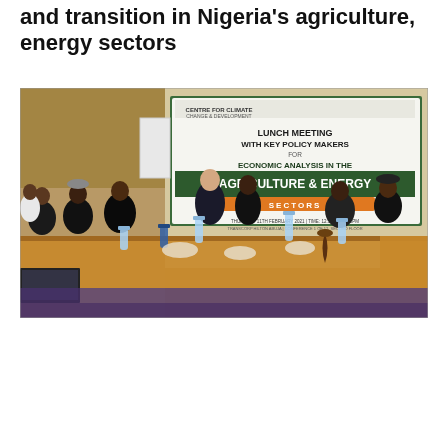and transition in Nigeria's agriculture, energy sectors
[Figure (photo): A lunch meeting with key policy makers on economic analysis in the agriculture and energy sectors. Several people are seated around a long table in a conference room. A banner in the background reads 'LUNCH MEETING WITH KEY POLICY MAKERS FOR ECONOMIC ANALYSIS IN THE AGRICULTURE & ENERGY SECTORS'. Water bottles and plates are on the table.]